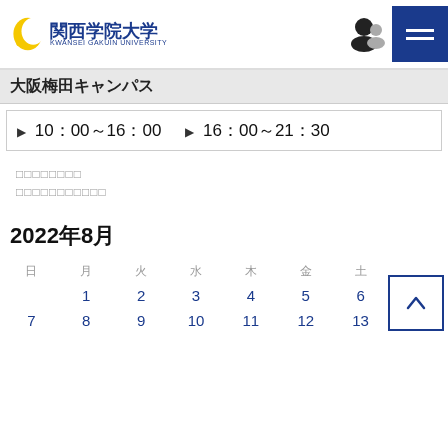関西学院大学 KWANSEI GAKUIN UNIVERSITY
大阪梅田キャンパス
▶ 10：00～16：00　▶ 16：00～21：30
□□□□□□□□
□□□□□□□□□□□
2022年8月
| 日 | 月 | 火 | 水 | 木 | 金 | 土 |
| --- | --- | --- | --- | --- | --- | --- |
|  | 1 | 2 | 3 | 4 | 5 | 6 |
| 7 | 8 | 9 | 10 | 11 | 12 | 13 |